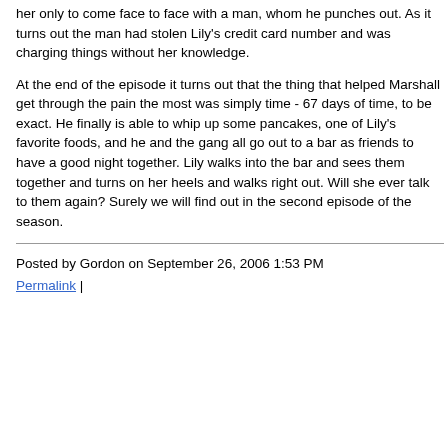her only to come face to face with a man, whom he punches out. As it turns out the man had stolen Lily's credit card number and was charging things without her knowledge.
At the end of the episode it turns out that the thing that helped Marshall get through the pain the most was simply time - 67 days of time, to be exact. He finally is able to whip up some pancakes, one of Lily's favorite foods, and he and the gang all go out to a bar as friends to have a good night together. Lily walks into the bar and sees them together and turns on her heels and walks right out. Will she ever talk to them again? Surely we will find out in the second episode of the season.
Posted by Gordon on September 26, 2006 1:53 PM
Permalink |